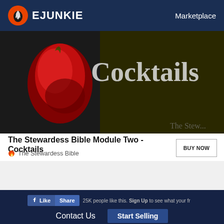EJUNKIE   Marketplace
[Figure (photo): Dark book cover showing 'Cocktails' text in white with a red strawberry on the left side]
The Stewardess Bible Module Two - Cocktails
The Stewardess Bible
BUY NOW
25K people like this. Sign Up to see what your fr
Contact Us
Start Selling